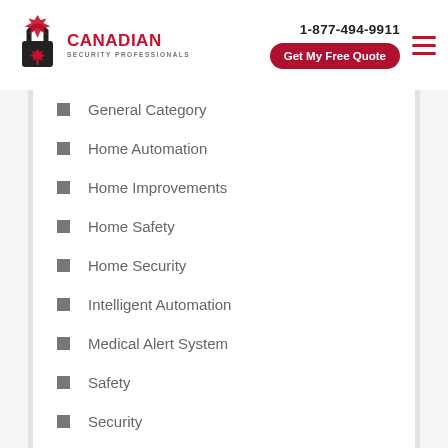Canadian Security Professionals — 1-877-494-9911 — Get My Free Quote
General Category
Home Automation
Home Improvements
Home Safety
Home Security
Intelligent Automation
Medical Alert System
Safety
Security
Security Alarms